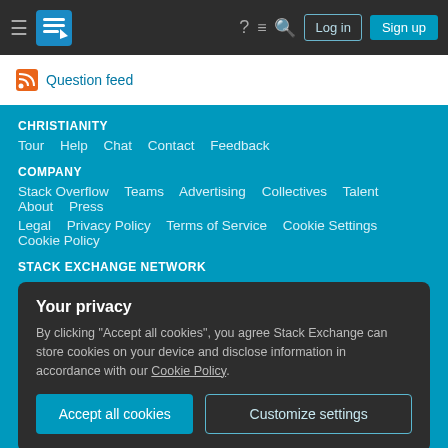Log in | Sign up
Question feed
CHRISTIANITY
Tour  Help  Chat  Contact  Feedback
COMPANY
Stack Overflow  Teams  Advertising  Collectives  Talent  About  Press
Legal  Privacy Policy  Terms of Service  Cookie Settings  Cookie Policy
STACK EXCHANGE NETWORK
Your privacy
By clicking "Accept all cookies", you agree Stack Exchange can store cookies on your device and disclose information in accordance with our Cookie Policy.
Accept all cookies  Customize settings